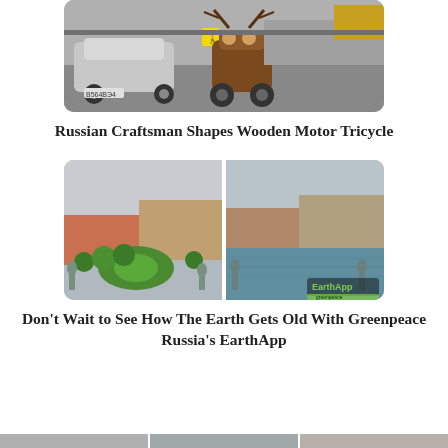[Figure (photo): A wooden motor tricycle on a Russian street, driving among regular cars. The tricycle has an ornate carved wooden body with deer antler-like decorations. A yellow pedestrian crossing sign is visible.]
Russian Craftsman Shapes Wooden Motor Tricycle
[Figure (photo): Side-by-side comparison of aerial views of a Russian city (likely St. Petersburg). Left image shows buildings with green gardens and a circular lawn. Right image shows the same area with water flooding the space, with an EarthApp Greenpeace watermark.]
Don't Wait to See How The Earth Gets Old With Greenpeace Russia's EarthApp
[Figure (photo): Partially visible strip of images at the bottom of the page, cropped.]